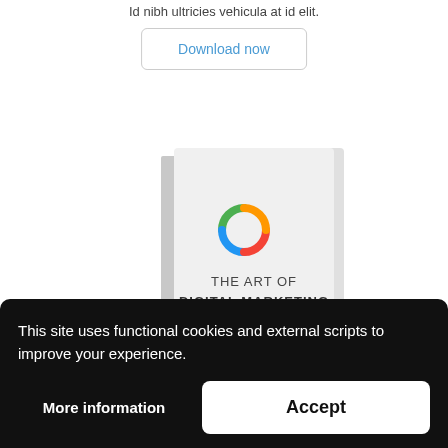Id nibh ultricies vehicula at id elit.
[Figure (other): Download now button with rounded border]
[Figure (illustration): Book cover: 'THE ART OF DIGITAL MARKETING' with a circular colorful logo icon and orange bottom stripe, shown at an angle.]
This site uses functional cookies and external scripts to improve your experience.
More information
Accept
The Art Of Digital Marketing Morbi leo risus,